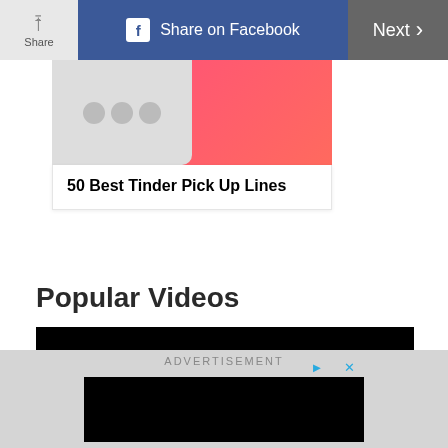Share | Share on Facebook | Next
[Figure (screenshot): Article thumbnail showing a smartphone with pink/red gradient background. Three grey dots visible on phone screen.]
50 Best Tinder Pick Up Lines
Popular Videos
[Figure (screenshot): Black video player with white play button triangle in center]
ADVERTISEMENT
[Figure (screenshot): Advertisement area with black content block]